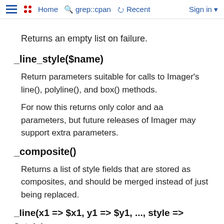Home  grep::cpan  Recent  Sign in
Returns an empty list on failure.
_line_style($name)
Return parameters suitable for calls to Imager's line(), polyline(), and box() methods.
For now this returns only color and aa parameters, but future releases of Imager may support extra parameters.
_composite()
Returns a list of style fields that are stored as composites, and should be merged instead of just being replaced.
_line(x1 => $x1, y1 => $y1, ..., style => $style)
Wrapper for line drawing, implements styles